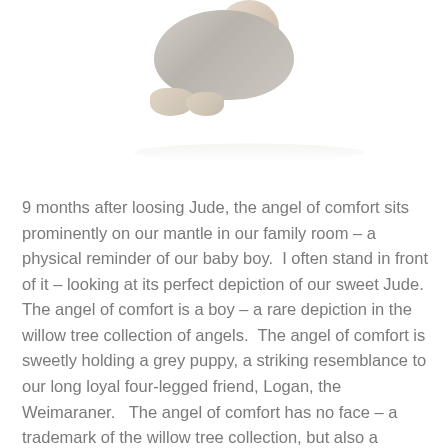[Figure (photo): Partial view of a Willow Tree angel figurine sitting, showing a rounded grey-clothed body with bare feet/toes at top and a soft reflection on white surface below]
9 months after loosing Jude, the angel of comfort sits prominently on our mantle in our family room – a physical reminder of our baby boy.  I often stand in front of it – looking at its perfect depiction of our sweet Jude.  The angel of comfort is a boy – a rare depiction in the willow tree collection of angels.  The angel of comfort is sweetly holding a grey puppy, a striking resemblance to our long loyal four-legged friend, Logan, the Weimaraner.   The angel of comfort has no face – a trademark of the willow tree collection, but also a symbolic representation of what the...